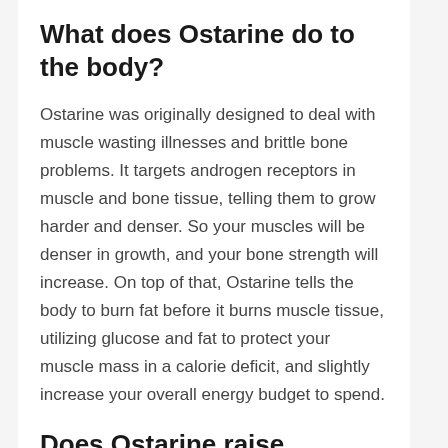What does Ostarine do to the body?
Ostarine was originally designed to deal with muscle wasting illnesses and brittle bone problems. It targets androgen receptors in muscle and bone tissue, telling them to grow harder and denser. So your muscles will be denser in growth, and your bone strength will increase. On top of that, Ostarine tells the body to burn fat before it burns muscle tissue, utilizing glucose and fat to protect your muscle mass in a calorie deficit, and slightly increase your overall energy budget to spend.
Does Ostarine raise